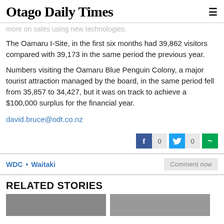Otago Daily Times
more on sales using new technologies.
The Oamaru I-Site, in the first six months had 39,862 visitors compared with 39,173 in the same period the previous year.
Numbers visiting the Oamaru Blue Penguin Colony, a major tourist attraction managed by the board, in the same period fell from 35,857 to 34,427, but it was on track to achieve a $100,000 surplus for the financial year.
david.bruce@odt.co.nz
WDC  •  Waitaki
Comment now
RELATED STORIES